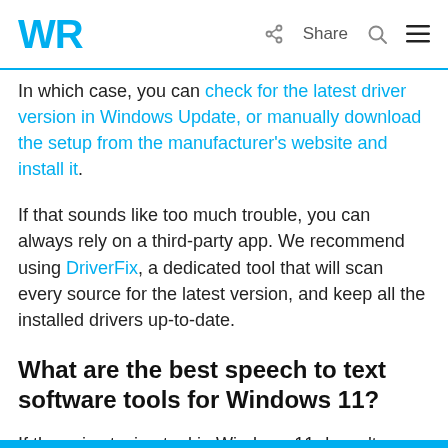WR | Share
In which case, you can check for the latest driver version in Windows Update, or manually download the setup from the manufacturer's website and install it.
If that sounds like too much trouble, you can always rely on a third-party app. We recommend using DriverFix, a dedicated tool that will scan every source for the latest version, and keep all the installed drivers up-to-date.
What are the best speech to text software tools for Windows 11?
If the voice typing tool in Windows 11 doesn't